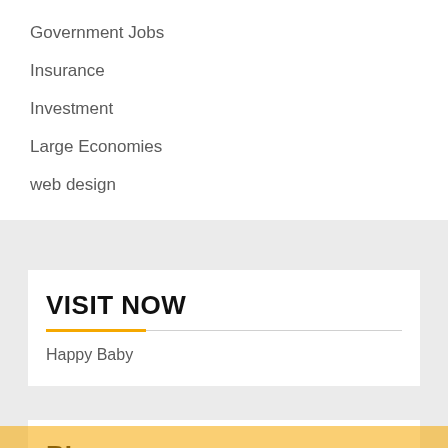Government Jobs
Insurance
Investment
Large Economies
web design
VISIT NOW
Happy Baby
BL